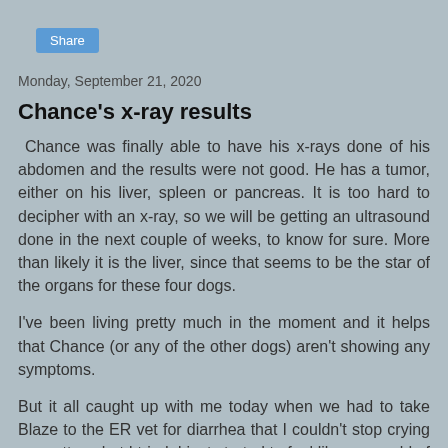Share
Monday, September 21, 2020
Chance's x-ray results
Chance was finally able to have his x-rays done of his abdomen and the results were not good.  He has a tumor, either on his liver, spleen or pancreas.  It is too hard to decipher with an x-ray, so we will be getting an ultrasound done in the next couple of weeks, to know for sure.   More than likely it is the liver, since that seems to be the star of the organs for these four dogs.
I've been living pretty much in the moment and it helps that Chance (or any of the other dogs) aren't showing any symptoms.
But it all caught up with me today when we had to take Blaze to the ER vet for diarrhea that I couldn't stop crying no matter what I tried.  I just started to feel like our world of the 24